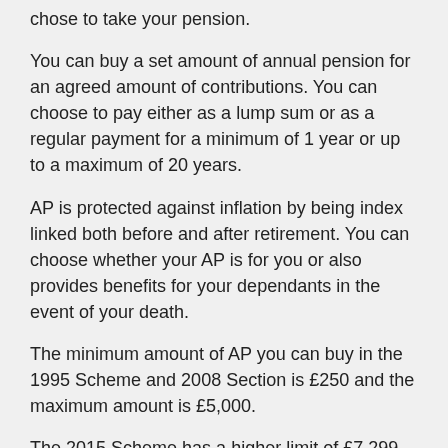chose to take your pension.
You can buy a set amount of annual pension for an agreed amount of contributions. You can choose to pay either as a lump sum or as a regular payment for a minimum of 1 year or up to a maximum of 20 years.
AP is protected against inflation by being index linked both before and after retirement. You can choose whether your AP is for you or also provides benefits for your dependants in the event of your death.
The minimum amount of AP you can buy in the 1995 Scheme and 2008 Section is £250 and the maximum amount is £5,000.
The 2015 Scheme has a higher limit of £7,299, which is reviewed each year.